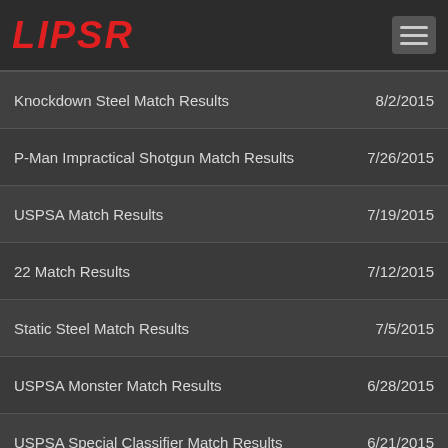LIPSR
Knockdown Steel Match Results | 8/2/2015
P-Man Impractical Shotgun Match Results | 7/26/2015
USPSA Match Results | 7/19/2015
22 Match Results | 7/12/2015
Static Steel Match Results | 7/5/2015
USPSA Monster Match Results | 6/28/2015
USPSA Special Classifier Match Results | 6/21/2015
3-Gun Match Results | 6/14/2015
Defensive Pistol Match Results | 6/7/2015
Shotgun Steel Match Results | 5/24/2015
USPSA Spring Blast Match Results | 5/17/2015
Static Steel Match Results | 5/10/2015
Backup Gun Match Results | 5/3/2015